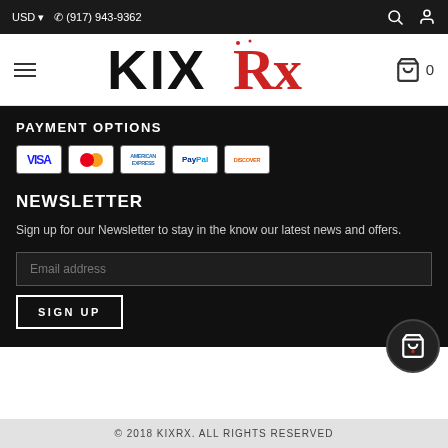USD  (917) 943-9362
[Figure (logo): KIXRx logo with KIX in black textured letters and Rx in red script]
PAYMENT OPTIONS
[Figure (infographic): Payment method icons: Visa, Mastercard, American Express, PayPal, Discover]
NEWSLETTER
Sign up for our Newsletter to stay in the know our latest news and offers.
Email address
SIGN UP
© 2018 KIXRX. ALL RIGHTS RESERVED